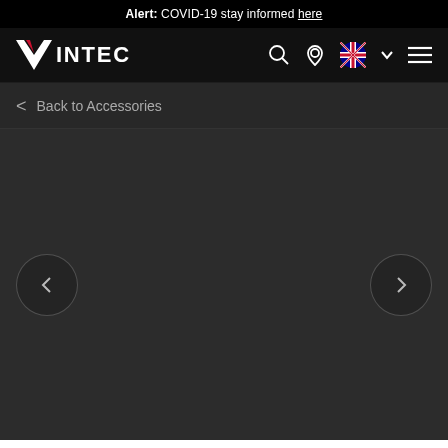Alert: COVID-19 stay informed here
[Figure (screenshot): Vintec website navigation bar with logo, search icon, location icon, Australian flag with dropdown, and hamburger menu]
< Back to Accessories
[Figure (screenshot): Dark product image carousel area with left and right navigation arrow buttons]